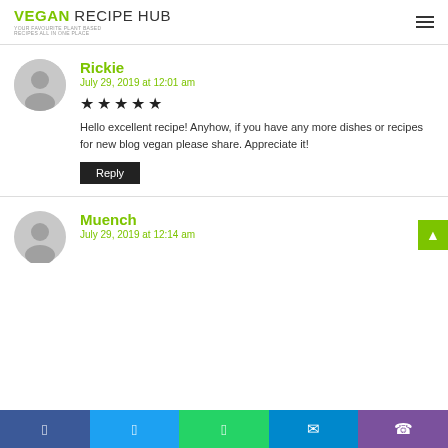VEGAN RECIPE HUB — YOUR FAVOURITE PLANT BASED RECIPES ALL IN ONE PLACE
Rickie
July 29, 2019 at 12:01 am
★★★★★
Hello excellent recipe! Anyhow, if you have any more dishes or recipes for new blog vegan please share. Appreciate it!
Reply
Muench
July 29, 2019 at 12:14 am